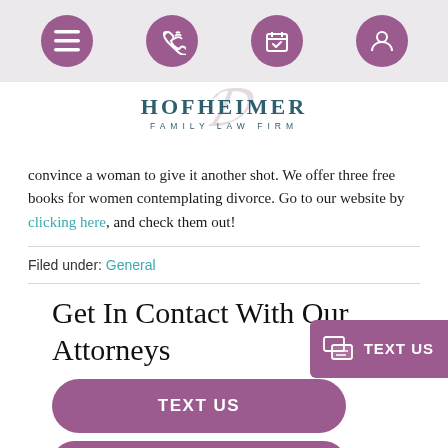[Figure (screenshot): Mobile navigation bar with hamburger menu icon and three circular purple icons for phone, calendar, and profile]
[Figure (logo): Hofheimer Family Law Firm logo with cursive H watermark and bold serif text]
convince a woman to give it another shot. We offer three free books for women contemplating divorce. Go to our website by clicking here, and check them out!
Filed under: General
Get In Contact With Our Attorneys
[Figure (screenshot): Purple rounded button labeled TEXT US]
[Figure (screenshot): Purple rounded button partially visible labeled CHAT WITH US]
[Figure (screenshot): Floating purple TEXT US widget in bottom right corner with messaging icon]